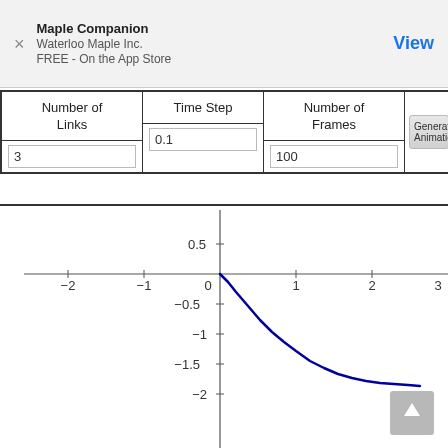Maple Companion
Waterloo Maple Inc.
FREE - On the App Store
View
| Number of Links | Time Step | Number of Frames |  |
| --- | --- | --- | --- |
| 3 | 0.1 | 100 | Generate Animation |
[Figure (continuous-plot): A plot of a decreasing curve starting near (0, 0) and falling steeply, then more gradually to approximately (2.5, -1.8). Axes range from -2 to 3 on x-axis and show 0.5, -0.5, -1, -1.5, -2 on y-axis. The curve is dark blue.]